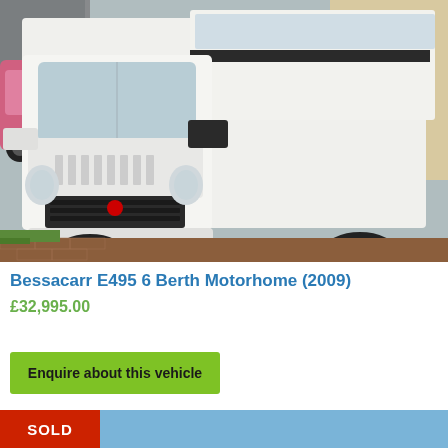[Figure (photo): Front view of a white Bessacarr E495 motorhome (Fiat Ducato-based) with UK registration plate G6 MJT, parked on a brick-paved driveway. A pink car is partially visible on the left. Step visible on vehicle right side.]
Bessacarr E495 6 Berth Motorhome (2009)
£32,995.00
Enquire about this vehicle
SOLD